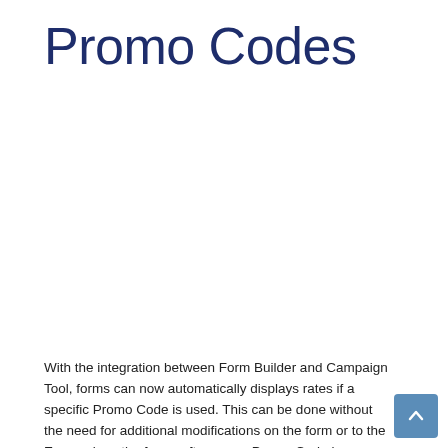Promo Codes
With the integration between Form Builder and Campaign Tool, forms can now automatically displays rates if a specific Promo Code is used. This can be done without the need for additional modifications on the form or to the Expressions the forms after a new Promo Code is available. To leverage this functionality, the Campaign Reid element must be added